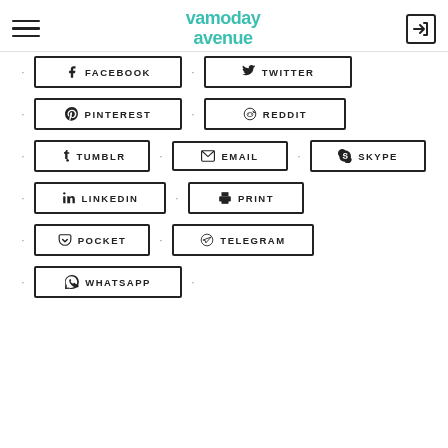Vamoday Avenue - navigation header with hamburger menu, logo, and login icon
FACEBOOK
TWITTER
PINTEREST
REDDIT
TUMBLR
EMAIL
SKYPE
LINKEDIN
PRINT
POCKET
TELEGRAM
WHATSAPP